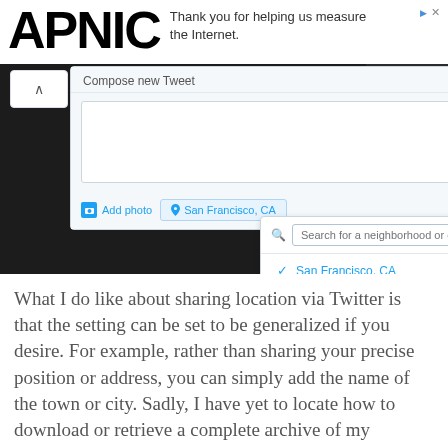APNIC — Thank you for helping us measure the Internet.
[Figure (screenshot): Twitter 'Compose new Tweet' dialog showing location selector with 'San Francisco, CA' selected and 'Oakland, CA' as another option. A search box for neighborhood or city is visible. The tweet composer has a text area, Add photo button, location field showing San Francisco CA, character count 140, and Tweet button.]
What I do like about sharing location via Twitter is that the setting can be set to be generalized if you desire. For example, rather than sharing your precise position or address, you can simply add the name of the town or city. Sadly, I have yet to locate how to download or retrieve a complete archive of my